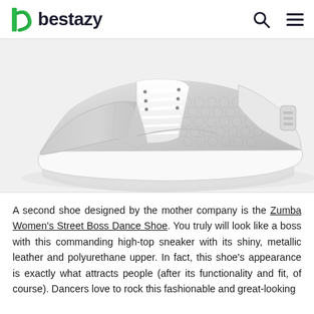bestazy
[Figure (photo): A silver/white Zumba Women's Street Boss Dance Shoe high-top sneaker with metallic leather and polyurethane upper with sequin-like texture, white laces, and white rubber sole, shown on a white background.]
A second shoe designed by the mother company is the Zumba Women's Street Boss Dance Shoe. You truly will look like a boss with this commanding high-top sneaker with its shiny, metallic leather and polyurethane upper. In fact, this shoe's appearance is exactly what attracts people (after its functionality and fit, of course). Dancers love to rock this fashionable and great-looking